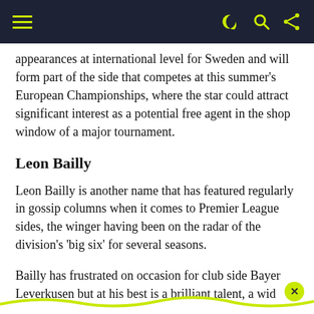☰   ) Q <
appearances at international level for Sweden and will form part of the side that competes at this summer's European Championships, where the star could attract significant interest as a potential free agent in the shop window of a major tournament.
Leon Bailly
Leon Bailly is another name that has featured regularly in gossip columns when it comes to Premier League sides, the winger having been on the radar of the division's 'big six' for several seasons.
Bailly has frustrated on occasion for club side Bayer Leverkusen but at his best is a brilliant talent, a wid⁠